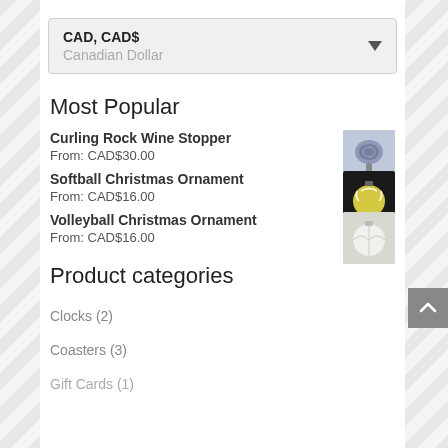CAD, CAD$ — Canadian Dollar (dropdown)
Most Popular
Curling Rock Wine Stopper — From: CAD$30.00
Softball Christmas Ornament — From: CAD$16.00
Volleyball Christmas Ornament — From: CAD$16.00
Product categories
Clocks (2)
Coasters (3)
Gift Cards (1) [partial]